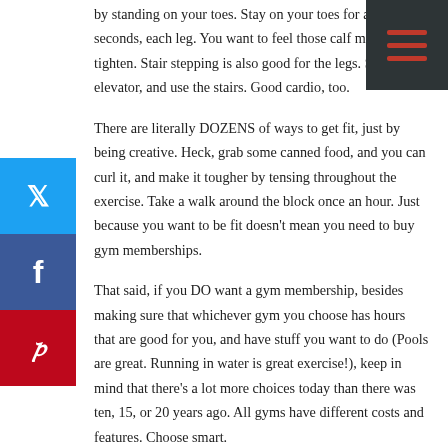by standing on your toes. Stay on your toes for about ten seconds, each leg. You want to feel those calf muscles tighten. Stair stepping is also good for the legs. Skip the elevator, and use the stairs. Good cardio, too.
There are literally DOZENS of ways to get fit, just by being creative. Heck, grab some canned food, and you can curl it, and make it tougher by tensing throughout the exercise. Take a walk around the block once an hour. Just because you want to be fit doesn't mean you need to buy gym memberships.
That said, if you DO want a gym membership, besides making sure that whichever gym you choose has hours that are good for you, and have stuff you want to do (Pools are great. Running in water is great exercise!), keep in mind that there's a lot more choices today than there was ten, 15, or 20 years ago. All gyms have different costs and features. Choose smart.